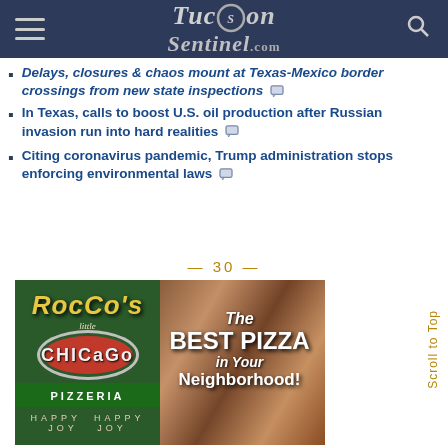TucsonSentinel.com
Delays, closures & chaos mount at Texas-Mexico border crossings from new state inspections
In Texas, calls to boost U.S. oil production after Russian invasion run into hard realities
Citing coronavirus pandemic, Trump administration stops enforcing environmental laws
— 30 —
[Figure (photo): Advertisement for Rocco's Little Chicago Pizzeria featuring the restaurant logo with green background, red oval with Chicago text, and text reading 'The BEST PIZZA IN YOUR Neighborhood!']